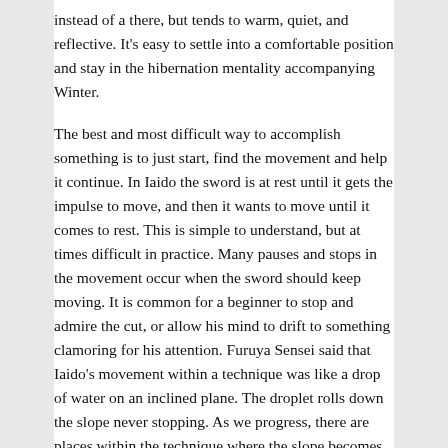instead of a there, but tends to warm, quiet, and reflective. It's easy to settle into a comfortable position and stay in the hibernation mentality accompanying Winter.
The best and most difficult way to accomplish something is to just start, find the movement and help it continue. In Iaido the sword is at rest until it gets the impulse to move, and then it wants to move until it comes to rest. This is simple to understand, but at times difficult in practice. Many pauses and stops in the movement occur when the sword should keep moving. It is common for a beginner to stop and admire the cut, or allow his mind to drift to something clamoring for his attention. Furuya Sensei said that Iaido's movement within a technique was like a drop of water on an inclined plane. The droplet rolls down the slope never stopping. As we progress, there are places within the technique where the slope becomes steeper and the flow faster, then the slope becomes more shallow and the movement slows. This looks like a stop or pause because the eye has been following the faster movement and perceives the slowdown as a stop, but really the